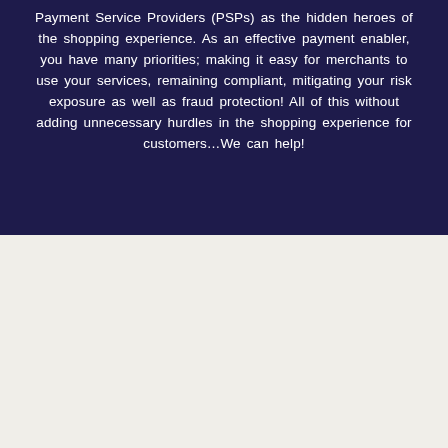Payment Service Providers (PSPs) as the hidden heroes of the shopping experience. As an effective payment enabler, you have many priorities; making it easy for merchants to use your services, remaining compliant, mitigating your risk exposure as well as fraud protection! All of this without adding unnecessary hurdles in the shopping experience for customers…We can help!